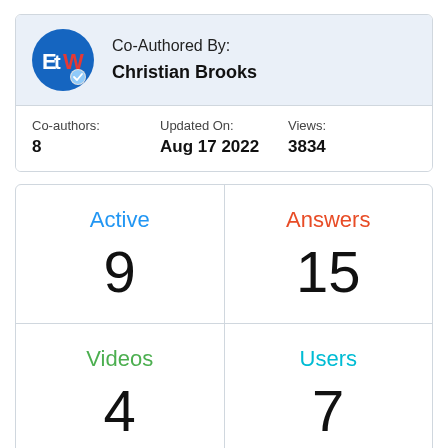[Figure (logo): EtW circular logo with blue background and colored letters E, t, W with a checkmark badge]
Co-Authored By:
Christian Brooks
| Co-authors: | Updated On: | Views: |
| --- | --- | --- |
| 8 | Aug 17 2022 | 3834 |
| Active | Answers | Videos | Users |
| --- | --- | --- | --- |
| 9 | 15 | 4 | 7 |